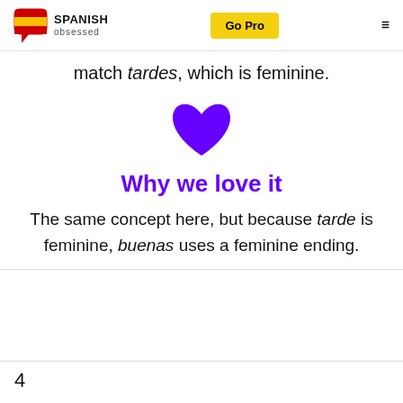SPANISH obsessed | Go Pro | menu
match tardes, which is feminine.
[Figure (illustration): Purple heart emoji/icon centered on the page]
Why we love it
The same concept here, but because tarde is feminine, buenas uses a feminine ending.
4